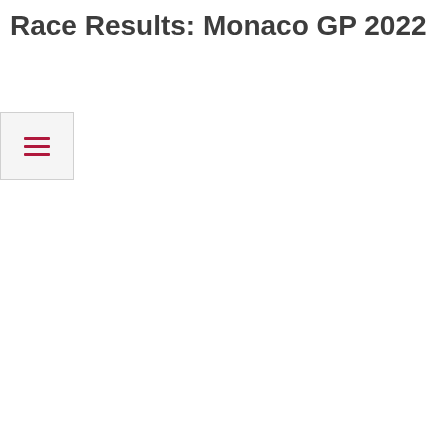Race Results: Monaco GP 2022
[Figure (other): Hamburger menu button icon with three horizontal crimson lines on a light grey background with a border]